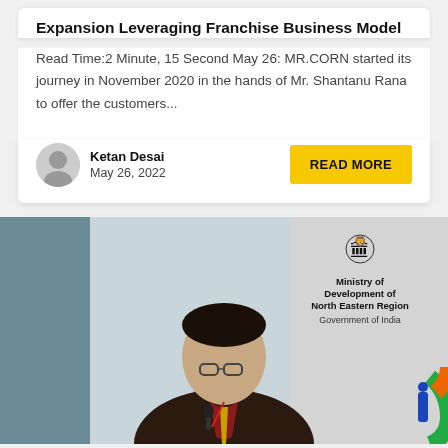Expansion Leveraging Franchise Business Model
Read Time:2 Minute, 15 Second May 26: MR.CORN started its journey in November 2020 in the hands of Mr. Shantanu Rana to offer the customers...
Ketan Desai
May 26, 2022
[Figure (photo): A man in a dark suit with glasses speaking at a podium with a microphone, in front of a backdrop showing the Ministry of Development of North Eastern Region, Government of India logo and emblem, with a partial colorful 'i' logo on the right.]